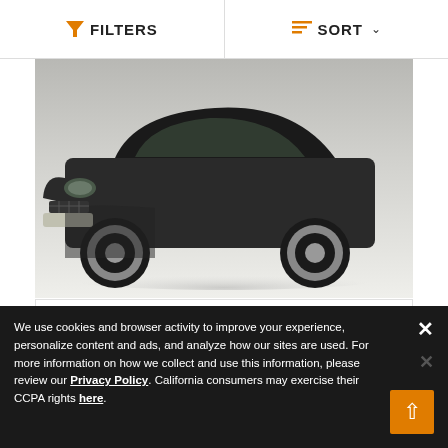FILTERS   SORT
[Figure (photo): Front close-up photo of a dark/black 1970 Chevrolet Malibu classic car on a light background, showing the hood, grille, headlights, and front wheels.]
1970 Chevrolet Malibu
$18,900
|  |  |
| --- | --- |
| Color | Black |
| Engine | 307 V8 |
| Miles | 1 |
We use cookies and browser activity to improve your experience, personalize content and ads, and analyze how our sites are used. For more information on how we collect and use this information, please review our Privacy Policy. California consumers may exercise their CCPA rights here.